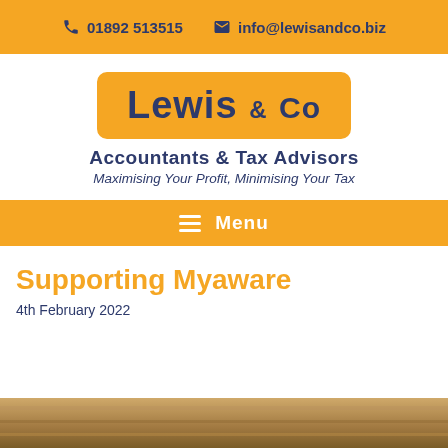📞 01892 513515   ✉ info@lewisandco.biz
[Figure (logo): Lewis & Co logo in a golden rounded rectangle with dark blue text]
Accountants & Tax Advisors
Maximising Your Profit, Minimising Your Tax
≡ Menu
Supporting Myaware
4th February 2022
[Figure (photo): Partial photo strip at bottom of page, warm wooden tones]